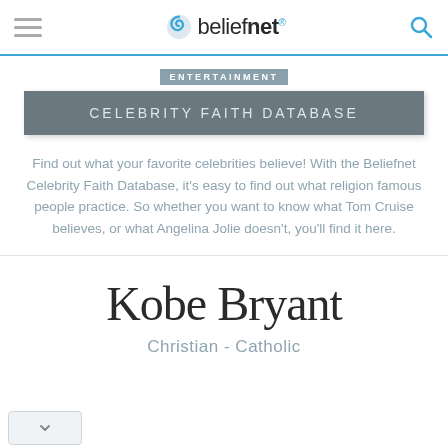beliefnet
ENTERTAINMENT
CELEBRITY FAITH DATABASE
Find out what your favorite celebrities believe! With the Beliefnet Celebrity Faith Database, it's easy to find out what religion famous people practice. So whether you want to know what Tom Cruise believes, or what Angelina Jolie doesn't, you'll find it here.
Kobe Bryant
Christian - Catholic